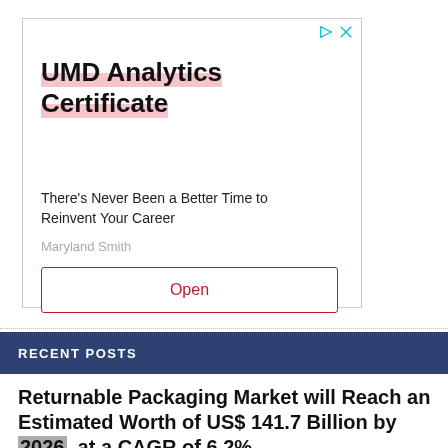[Figure (other): Advertisement box for UMD Analytics Certificate with title, subtitle, source, and Open button]
RECENT POSTS
Returnable Packaging Market will Reach an Estimated Worth of US$ 141.7 Billion by 2026, at a CAGR of 6.2%, Reveals MarketsandMarkets™